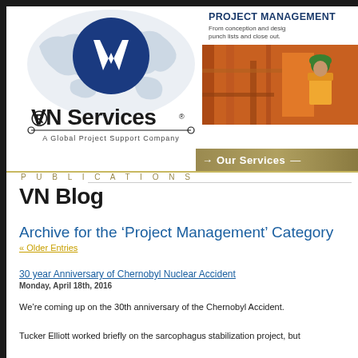[Figure (logo): VN Services logo with world map background and blue circular VN emblem. Text: VN Services, A Global Project Support Company]
[Figure (photo): PROJECT MANAGEMENT header with text: From conception and design to punch lists and close out. Photo of construction worker in green hard hat and safety vest.]
Our Services
PUBLICATIONS
VN Blog
Archive for the ‘Project Management’ Category
« Older Entries
30 year Anniversary of Chernobyl Nuclear Accident
Monday, April 18th, 2016
We’re coming up on the 30th anniversary of the Chernobyl Accident.
Tucker Elliott worked briefly on the sarcophagus stabilization project, but